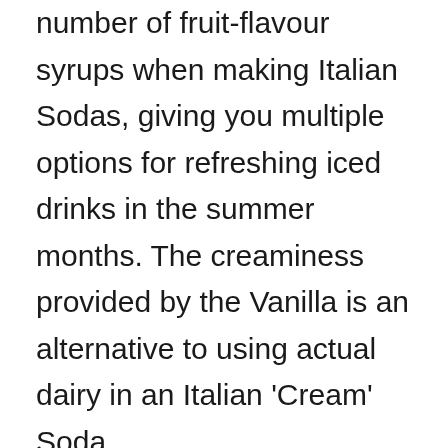Vanilla Syrups works well with any number of fruit-flavour syrups when making Italian Sodas, giving you multiple options for refreshing iced drinks in the summer months. The creaminess provided by the Vanilla is an alternative to using actual dairy in an Italian 'Cream' Soda.

We recommend one Torani 750ml Syrup Pump for each flavor. Pumps can be cleaned and reused.